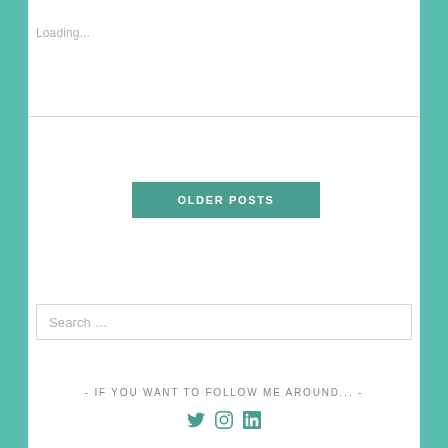Loading...
OLDER POSTS
Search …
- IF YOU WANT TO FOLLOW ME AROUND... -
[Figure (illustration): Social media icons: Twitter bird, Instagram camera, LinkedIn 'in' logo, all in teal color]